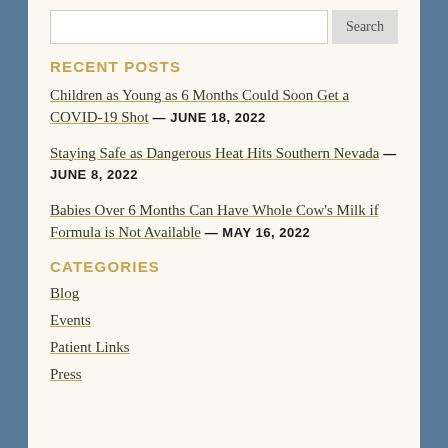Search
RECENT POSTS
Children as Young as 6 Months Could Soon Get a COVID-19 Shot — JUNE 18, 2022
Staying Safe as Dangerous Heat Hits Southern Nevada — JUNE 8, 2022
Babies Over 6 Months Can Have Whole Cow's Milk if Formula is Not Available — MAY 16, 2022
CATEGORIES
Blog
Events
Patient Links
Press